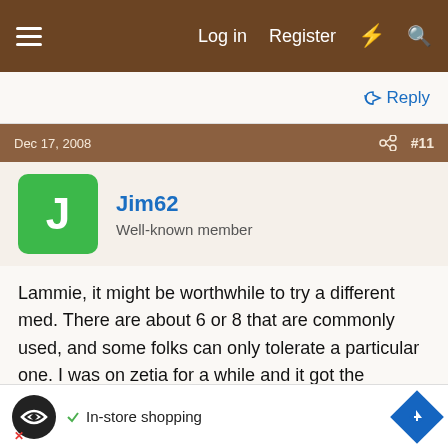≡   Log in   Register   ⚡   🔍
↩ Reply
Dec 17, 2008   #11
Jim62
Well-known member
Lammie, it might be worthwhile to try a different med. There are about 6 or 8 that are commonly used, and some folks can only tolerate a particular one. I was on zetia for a while and it got the numbers waaaay down, but studies showed that other than the low numbers, it was useless. My total has been around 115 or 120, LDL 60s, and HDL 30s, the last few years. Perfect except for the HDL which should be 40 or more. Doc said...